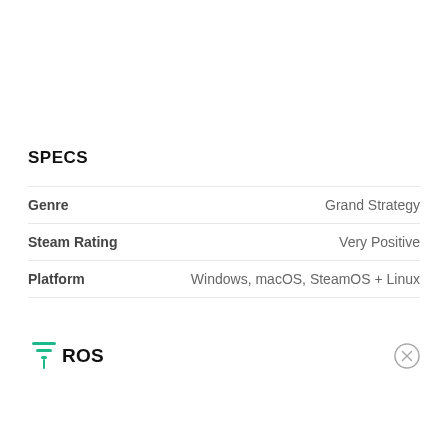SPECS
|  |  |
| --- | --- |
| Genre | Grand Strategy |
| Steam Rating | Very Positive |
| Platform | Windows, macOS, SteamOS + Linux |
PROS